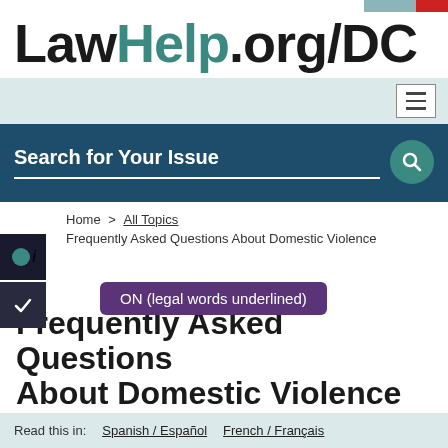[Figure (screenshot): LawHelp.org/DC website logo with teal 'Help' text and colored accent bars in top right]
LawHelp.org/DC
Search for Your Issue
Home > All Topics > Frequently Asked Questions About Domestic Violence
Frequently Asked Questions About Domestic Violence
ON (legal words underlined)
Read this in:  Spanish / Español   French / Français